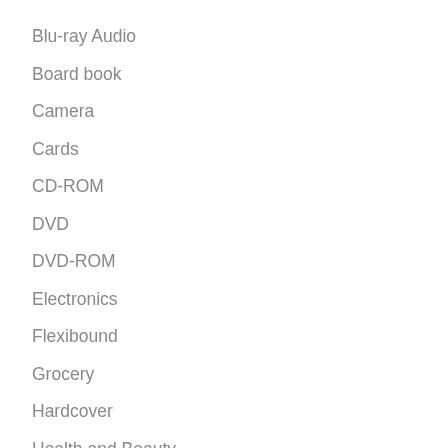Blu-ray Audio
Board book
Camera
Cards
CD-ROM
DVD
DVD-ROM
Electronics
Flexibound
Grocery
Hardcover
Health and Beauty
Home
Housewares